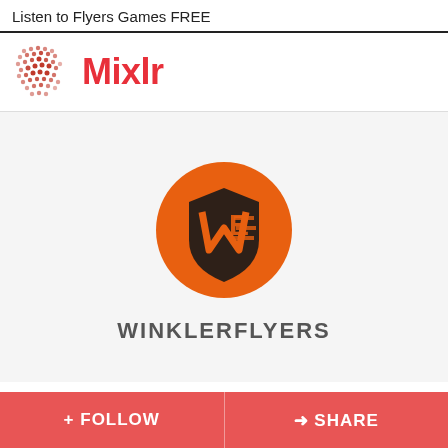Listen to Flyers Games FREE
[Figure (logo): Mixlr logo with red dot pattern and red Mixlr text]
[Figure (logo): Winkler Flyers circular orange logo with WF shield emblem]
WINKLERFLYERS
+ FOLLOW
→ SHARE